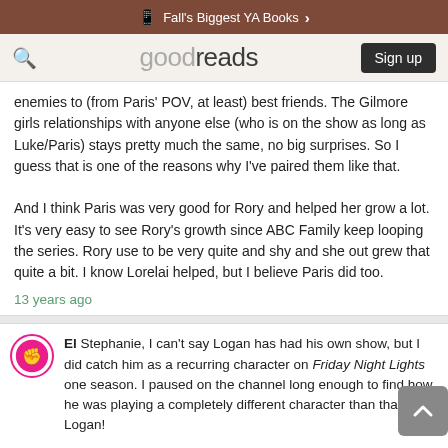Fall's Biggest YA Books >
goodreads  Sign up
enemies to (from Paris' POV, at least) best friends. The Gilmore girls relationships with anyone else (who is on the show as long as Luke/Paris) stays pretty much the same, no big surprises. So I guess that is one of the reasons why I've paired them like that.

And I think Paris was very good for Rory and helped her grow a lot. It's very easy to see Rory's growth since ABC Family keep looping the series. Rory use to be very quite and shy and she out grew that quite a bit. I know Lorelai helped, but I believe Paris did too.
13 years ago
El Stephanie, I can't say Logan has had his own show, but I did catch him as a recurring character on Friday Night Lights one season. I paused on the channel long enough to find how he was playing a completely different character than that of Logan!